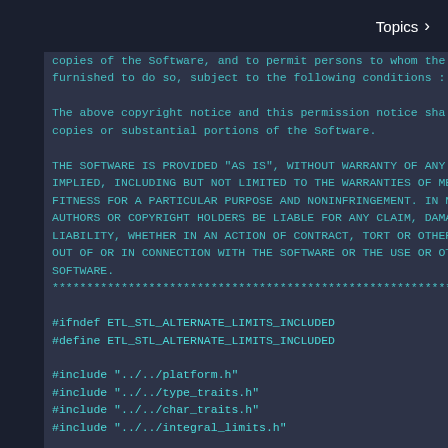Topics >
copies of the Software, and to permit persons to whom the
furnished to do so, subject to the following conditions :
The above copyright notice and this permission notice sha
copies or substantial portions of the Software.
THE SOFTWARE IS PROVIDED "AS IS", WITHOUT WARRANTY OF ANY
IMPLIED, INCLUDING BUT NOT LIMITED TO THE WARRANTIES OF ME
FITNESS FOR A PARTICULAR PURPOSE AND NONINFRINGEMENT. IN NO
AUTHORS OR COPYRIGHT HOLDERS BE LIABLE FOR ANY CLAIM, DAMA
LIABILITY, WHETHER IN AN ACTION OF CONTRACT, TORT OR OTHE
OUT OF OR IN CONNECTION WITH THE SOFTWARE OR THE USE OR OT
SOFTWARE.
*******************************************************************
#ifndef ETL_STL_ALTERNATE_LIMITS_INCLUDED
#define ETL_STL_ALTERNATE_LIMITS_INCLUDED
#include "../../platform.h"
#include "../../type_traits.h"
#include "../../char_traits.h"
#include "../../integral_limits.h"
#include <limits.h>